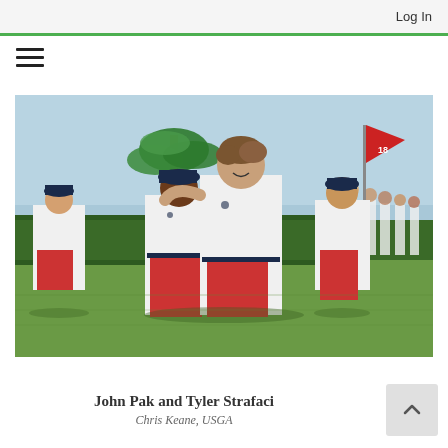Log In
[Figure (photo): Golf players in white polo shirts and red pants celebrating on a golf course. Two main players in the foreground are embracing, one wearing a navy cap. A red flag with number 18 is visible in the background, along with a palm tree and other players.]
John Pak and Tyler Strafaci
Chris Keane, USGA